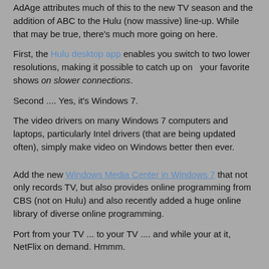AdAge attributes much of this to the new TV season and the addition of ABC to the Hulu (now massive) line-up.  While that may be true, there's much more going on here.
First, the Hulu desktop app enables you switch to two lower resolutions, making it possible to catch up on   your favorite shows on slower connections.
Second .... Yes, it's Windows 7.
The video drivers on many Windows 7 computers and laptops, particularly Intel drivers (that are being updated often), simply make video on Windows better then ever.
Add the new Windows Media Center in Windows 7 that not only records TV, but also provides online programming from CBS (not on Hulu) and also recently added a huge online library of diverse online programming.
Port from your TV ... to your TV .... and while your at it, NetFlix on demand.  Hmmm.